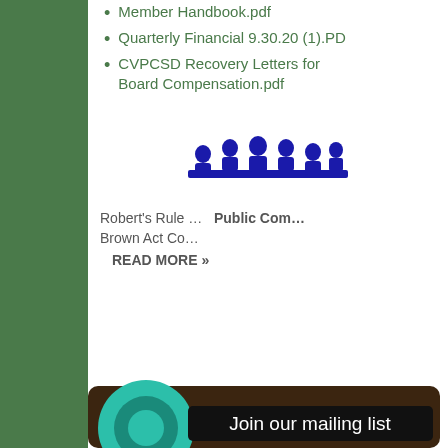Member Handbook.pdf
Quarterly Financial 9.30.20 (1).PD
CVPCSD Recovery Letters for Board Compensation.pdf
[Figure (illustration): Blue silhouette of a group of people sitting around a table in a meeting]
Robert's Rule ...   Public Com...
Brown Act Co...
READ MORE »
[Figure (infographic): Brown rounded card with teal circular icon and text 'Join our mailing list' on dark background]